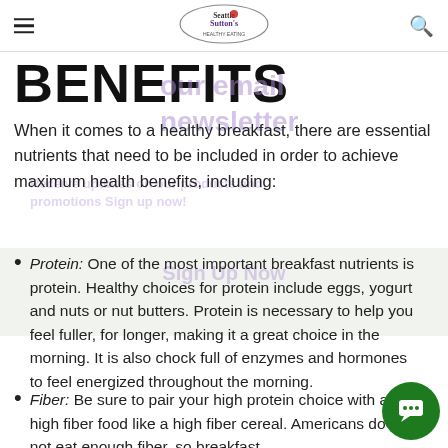Seattle Sutton's Healthy Eating — navigation header with hamburger menu and search icon
BENEFITS
When it comes to a healthy breakfast, there are essential nutrients that need to be included in order to achieve maximum health benefits, including:
Protein: One of the most important breakfast nutrients is protein. Healthy choices for protein include eggs, yogurt and nuts or nut butters. Protein is necessary to help you feel fuller, for longer, making it a great choice in the morning. It is also chock full of enzymes and hormones to feel energized throughout the morning.
Fiber: Be sure to pair your high protein choice with a high fiber food like a high fiber cereal. Americans do not eat enough fiber, so breakfast